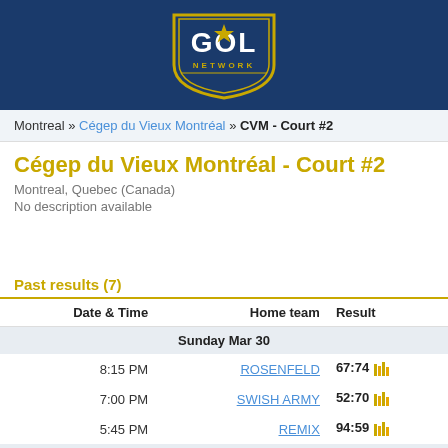[Figure (logo): GOL Network logo - shield shape with star, yellow and white text on dark blue background]
Montreal » Cégep du Vieux Montréal » CVM - Court #2
Cégep du Vieux Montréal - Court #2
Montreal, Quebec (Canada)
No description available
Past results (7)
| Date & Time | Home team | Result |
| --- | --- | --- |
| Sunday Mar 30 |  |  |
| 8:15 PM | ROSENFELD | 67:74 |
| 7:00 PM | SWISH ARMY | 52:70 |
| 5:45 PM | REMIX | 94:59 |
| Monday Mar 24 |  |  |
| 8:30 PM | EPOK&MIND | 51:45 |
| Monday Mar 17 |  |  |
|  |  |  |